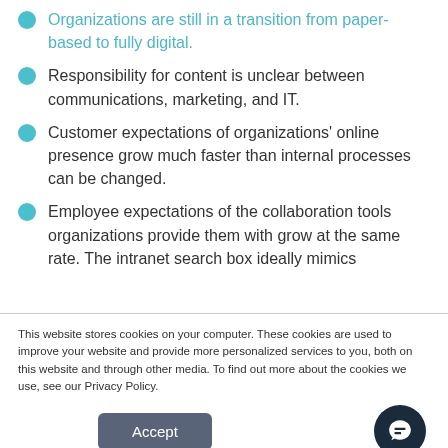Organizations are still in a transition from paper-based to fully digital.
Responsibility for content is unclear between communications, marketing, and IT.
Customer expectations of organizations' online presence grow much faster than internal processes can be changed.
Employee expectations of the collaboration tools organizations provide them with grow at the same rate. The intranet search box ideally mimics
This website stores cookies on your computer. These cookies are used to improve your website and provide more personalized services to you, both on this website and through other media. To find out more about the cookies we use, see our Privacy Policy.